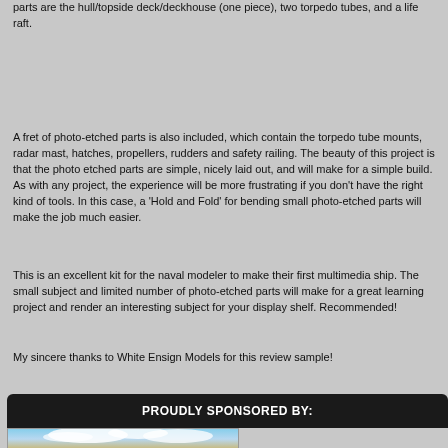parts are the hull/topside deck/deckhouse (one piece), two torpedo tubes, and a life raft.
A fret of photo-etched parts is also included, which contain the torpedo tube mounts, radar mast, hatches, propellers, rudders and safety railing. The beauty of this project is that the photo etched parts are simple, nicely laid out, and will make for a simple build. As with any project, the experience will be more frustrating if you don't have the right kind of tools. In this case, a 'Hold and Fold' for bending small photo-etched parts will make the job much easier.
This is an excellent kit for the naval modeler to make their first multimedia ship. The small subject and limited number of photo-etched parts will make for a great learning project and render an interesting subject for your display shelf. Recommended!
My sincere thanks to White Ensign Models for this review sample!
PROUDLY SPONSORED BY:
[Figure (photo): Partial view of a sponsor advertisement image showing sky with clouds]